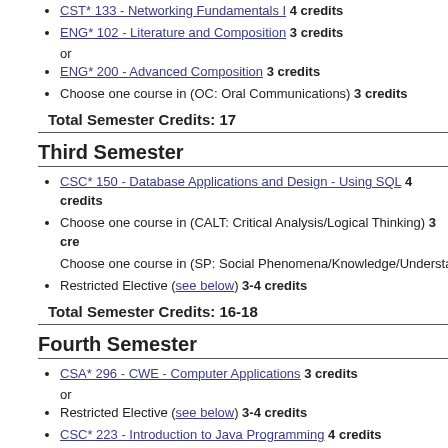CST* 133 - Networking Fundamentals I 4 credits
ENG* 102 - Literature and Composition 3 credits
or
ENG* 200 - Advanced Composition 3 credits
Choose one course in (OC: Oral Communications) 3 credits
Total Semester Credits: 17
Third Semester
CSC* 150 - Database Applications and Design - Using SQL 4 credits
Choose one course in (CALT: Critical Analysis/Logical Thinking) 3 cre
Choose one course in (SP: Social Phenomena/Knowledge/Understandin
Restricted Elective (see below) 3-4 credits
Total Semester Credits: 16-18
Fourth Semester
CSA* 296 - CWE - Computer Applications 3 credits
or
Restricted Elective (see below) 3-4 credits
CSC* 223 - Introduction to Java Programming 4 credits
CSC* 250 - Systems Analysis and Design 3 credits